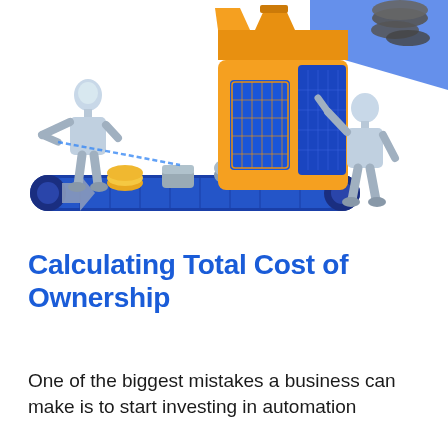[Figure (illustration): Isometric illustration of an industrial automation conveyor belt with a robotic/mannequin figure on the left feeding items onto a blue conveyor belt, an orange and blue factory machine in the center, and a humanoid figure on the right. Items on the belt include gold coins, gray metal shapes, and an arrow. Tires are visible in the upper right on a blue ramp.]
Calculating Total Cost of Ownership
One of the biggest mistakes a business can make is to start investing in automation